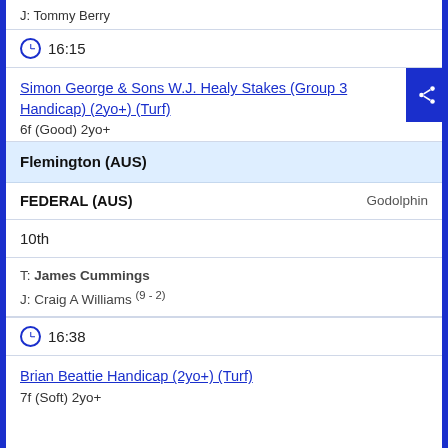J: Tommy Berry
16:15
Simon George & Sons W.J. Healy Stakes (Group 3 Handicap) (2yo+) (Turf)
6f (Good) 2yo+
Flemington (AUS)
FEDERAL (AUS)    Godolphin
10th
T: James Cummings
J: Craig A Williams (9 - 2)
16:38
Brian Beattie Handicap (2yo+) (Turf)
7f (Soft) 2yo+